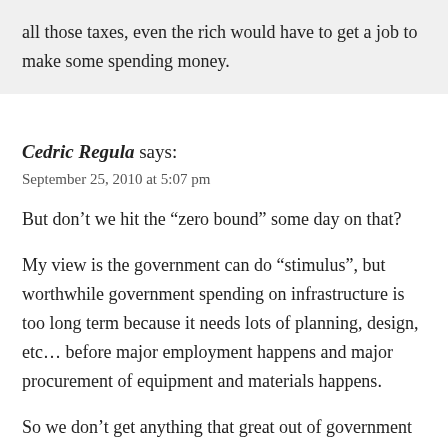all those taxes, even the rich would have to get a job to make some spending money.
Cedric Regula says:
September 25, 2010 at 5:07 pm
But don't we hit the “zero bound” some day on that?
My view is the government can do “stimulus”, but worthwhile government spending on infrastructure is too long term because it needs lots of planning, design, etc… before major employment happens and major procurement of equipment and materials happens.
So we don’t get anything that great out of government spending.